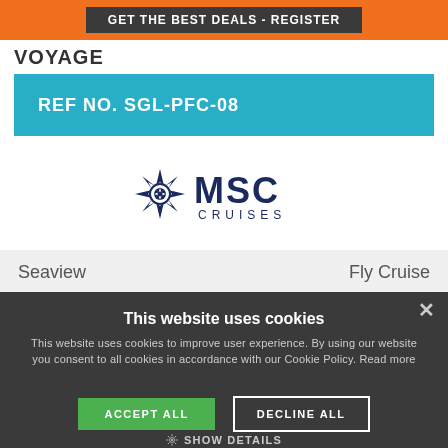GET THE BEST DEALS - REGISTER
VOYAGE
REF NO. SGL-PFC-08
[Figure (logo): MSC Cruises logo with compass star and brand name]
Seaview
Fly Cruise
This website uses cookies
This website uses cookies to improve user experience. By using our website you consent to all cookies in accordance with our Cookie Policy. Read more
ACCEPT ALL
DECLINE ALL
SHOW DETAILS